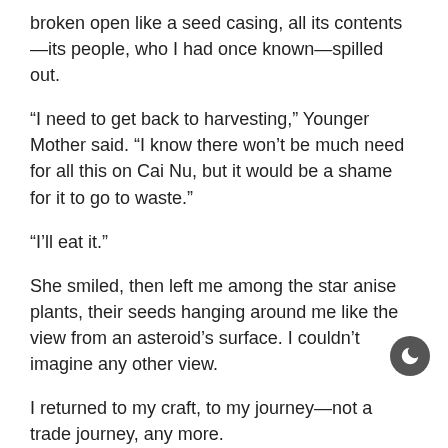broken open like a seed casing, all its contents—its people, who I had once known—spilled out.
“I need to get back to harvesting,” Younger Mother said. “I know there won’t be much need for all this on Cai Nu, but it would be a shame for it to go to waste.”
“I’ll eat it.”
She smiled, then left me among the star anise plants, their seeds hanging around me like the view from an asteroid’s surface. I couldn’t imagine any other view.
I returned to my craft, to my journey—not a trade journey, any more.
Cinnamon, Turmeric, Rosemary, Cloves,